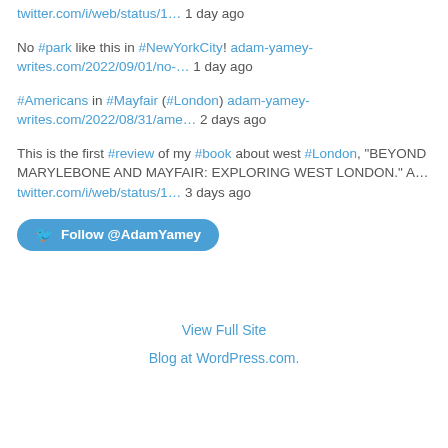twitter.com/i/web/status/1… 1 day ago
No #park like this in #NewYorkCity! adam-yamey-writes.com/2022/09/01/no-… 1 day ago
#Americans in #Mayfair (#London) adam-yamey-writes.com/2022/08/31/ame… 2 days ago
This is the first #review of my #book about west #London, "BEYOND MARYLEBONE AND MAYFAIR: EXPLORING WEST LONDON." A… twitter.com/i/web/status/1… 3 days ago
Follow @AdamYamey
View Full Site
Blog at WordPress.com.